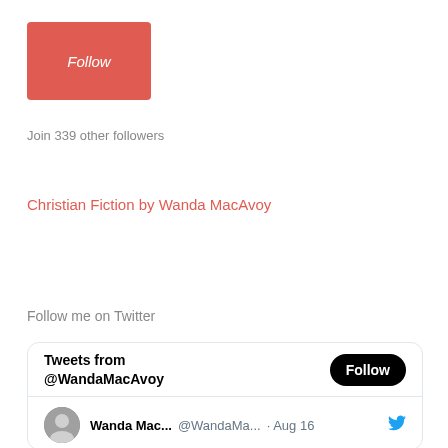[Figure (other): Red Follow button (rounded rectangle, coral/red background, italic white text 'Follow')]
Join 339 other followers
Christian Fiction by Wanda MacAvoy
Follow me on Twitter
[Figure (screenshot): Twitter widget showing 'Tweets from @WandaMacAvoy' with a black Follow button, and a tweet row with avatar, name 'Wanda Mac...', handle '@WandaMa...', date 'Aug 16', and Twitter bird icon]